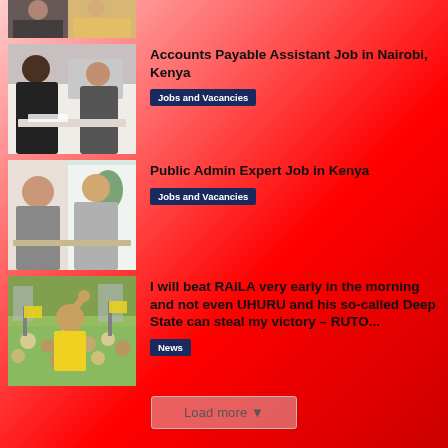[Figure (photo): Partial view of two people at top of page]
[Figure (photo): Two men reviewing documents with a laptop]
Accounts Payable Assistant Job in Nairobi, Kenya
Jobs and Vacancies
[Figure (photo): Two women in a meeting, one facing away]
Public Admin Expert Job in Kenya
Jobs and Vacancies
[Figure (photo): Large political rally crowd with man in yellow shirt raising hand]
I will beat RAILA very early in the morning and not even UHURU and his so-called Deep State can steal my victory – RUTO...
News
Load more